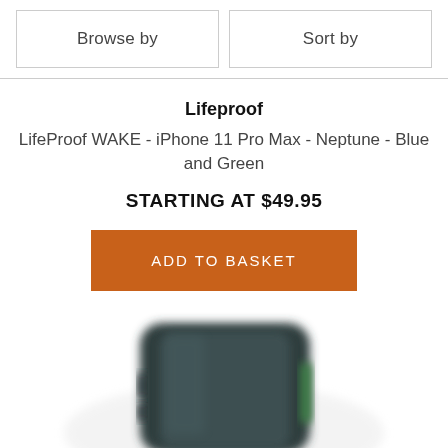Browse by
Sort by
Lifeproof
LifeProof WAKE - iPhone 11 Pro Max - Neptune - Blue and Green
STARTING AT $49.95
ADD TO BASKET
[Figure (photo): Partial view of a phone case (LifeProof WAKE) in dark blue/green color, shown from the bottom, blurred/cropped at the bottom of the page.]